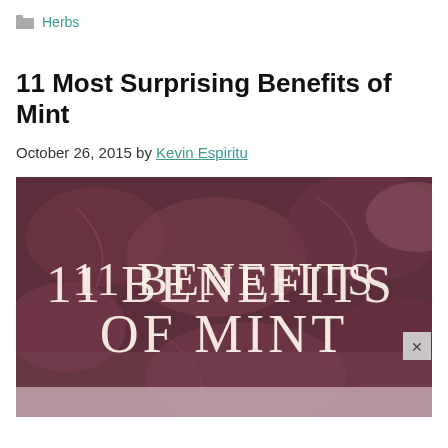Herbs
11 Most Surprising Benefits of Mint
October 26, 2015 by Kevin Espiritu
[Figure (photo): Dark reddish-purple tinted photo of mint leaves with large text overlay reading '11 BENEFITS OF MINT']